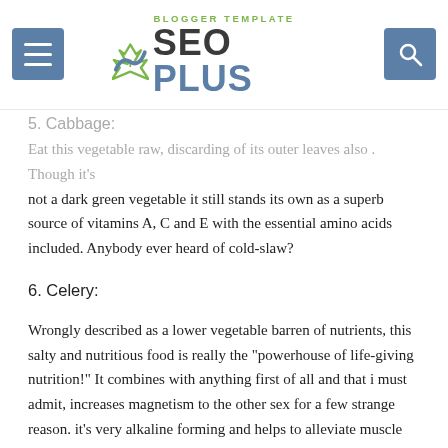SEO PLUS — BLOGGER TEMPLATE
5. Cabbage:
Eat this vegetable raw, discarding of its outer leaves also . Though it's not a dark green vegetable it still stands its own as a superb source of vitamins A, C and E with the essential amino acids included. Anybody ever heard of cold-slaw?
6. Celery:
Wrongly described as a lower vegetable barren of nutrients, this salty and nutritious food is really the "powerhouse of life-giving nutrition!" It combines with anything first of all and that i must admit, increases magnetism to the other sex for a few strange reason. it's very alkaline forming and helps to alleviate muscle cramping and fatigue. Wild, it's the favourite food of our cousin the Gorilla.
7. Citrus:
I avoid lots...